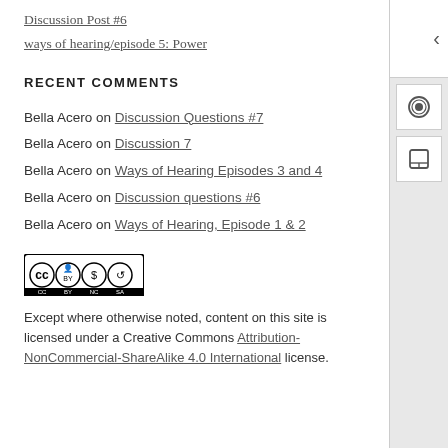Discussion Post #6
ways of hearing/episode 5: Power
RECENT COMMENTS
Bella Acero on Discussion Questions #7
Bella Acero on Discussion 7
Bella Acero on Ways of Hearing Episodes 3 and 4
Bella Acero on Discussion questions #6
Bella Acero on Ways of Hearing, Episode 1 & 2
[Figure (logo): Creative Commons BY-NC-SA license badge]
Except where otherwise noted, content on this site is licensed under a Creative Commons Attribution-NonCommercial-ShareAlike 4.0 International license.